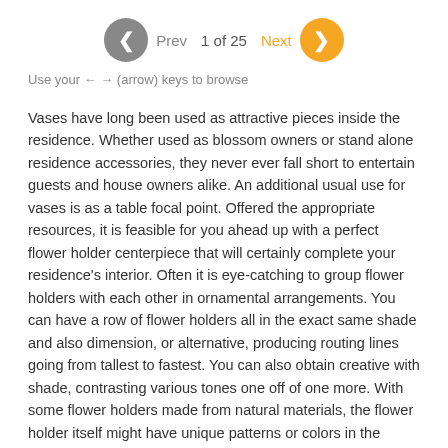Prev  1 of 25  Next
Use your ← → (arrow) keys to browse
Vases have long been used as attractive pieces inside the residence. Whether used as blossom owners or stand alone residence accessories, they never ever fall short to entertain guests and house owners alike. An additional usual use for vases is as a table focal point. Offered the appropriate resources, it is feasible for you ahead up with a perfect flower holder centerpiece that will certainly complete your residence's interior. Often it is eye-catching to group flower holders with each other in ornamental arrangements. You can have a row of flower holders all in the exact same shade and also dimension, or alternative, producing routing lines going from tallest to fastest. You can also obtain creative with shade, contrasting various tones one off of one more. With some flower holders made from natural materials, the flower holder itself might have unique patterns or colors in the surface. This is especially true of hardwood, or different marble flower holders. See additionally other 16